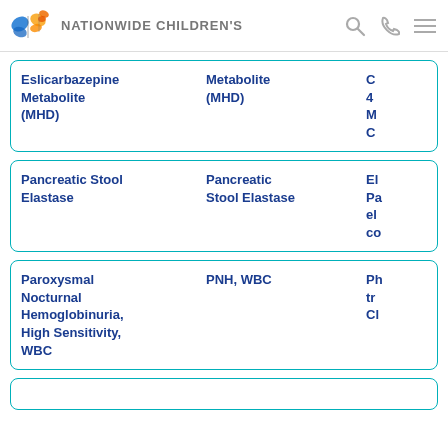Nationwide Children's
| Test Name | Alias | Details |
| --- | --- | --- |
| Eslicarbazepine Metabolite (MHD) | Metabolite (MHD) | C... 4... M... C... |
| Pancreatic Stool Elastase | Pancreatic Stool Elastase | El... Pa... el... co... |
| Paroxysmal Nocturnal Hemoglobinuria, High Sensitivity, WBC | PNH, WBC | Ph... tr... Cl... |